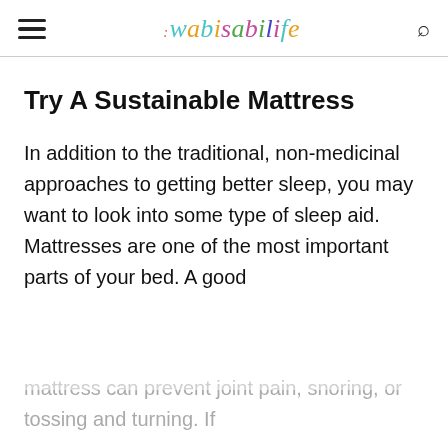wabi sabi life
Try A Sustainable Mattress
In addition to the traditional, non-medicinal approaches to getting better sleep, you may want to look into some type of sleep aid. Mattresses are one of the most important parts of your bed. A good mattress can prevent joint pain, snoring, or tossing and turning. If